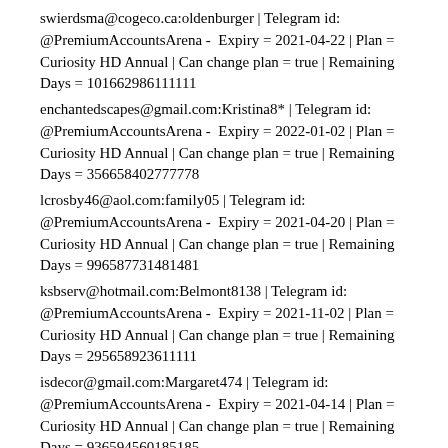swierdsma@cogeco.ca:oldenburger | Telegram id: @PremiumAccountsArena -  Expiry = 2021-04-22 | Plan = Curiosity HD Annual | Can change plan = true | Remaining Days = 101662986111111
enchantedscapes@gmail.com:Kristina8* | Telegram id: @PremiumAccountsArena -  Expiry = 2022-01-02 | Plan = Curiosity HD Annual | Can change plan = true | Remaining Days = 356658402777778
lcrosby46@aol.com:family05 | Telegram id: @PremiumAccountsArena -  Expiry = 2021-04-20 | Plan = Curiosity HD Annual | Can change plan = true | Remaining Days = 996587731481481
ksbserv@hotmail.com:Belmont8138 | Telegram id: @PremiumAccountsArena -  Expiry = 2021-11-02 | Plan = Curiosity HD Annual | Can change plan = true | Remaining Days = 295658923611111
isdecor@gmail.com:Margaret474 | Telegram id: @PremiumAccountsArena -  Expiry = 2021-04-14 | Plan = Curiosity HD Annual | Can change plan = true | Remaining Days = 936594560185185